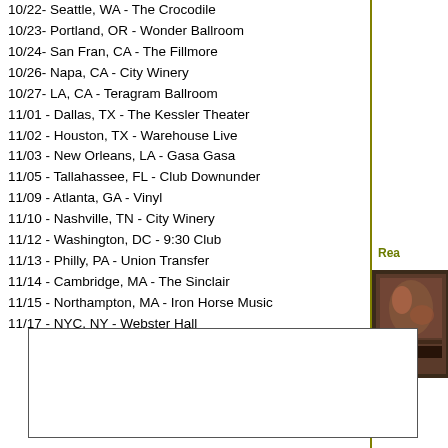10/22- Seattle, WA - The Crocodile
10/23- Portland, OR - Wonder Ballroom
10/24- San Fran, CA - The Fillmore
10/26- Napa, CA - City Winery
10/27- LA, CA - Teragram Ballroom
11/01 - Dallas, TX - The Kessler Theater
11/02 - Houston, TX - Warehouse Live
11/03 - New Orleans, LA - Gasa Gasa
11/05 - Tallahassee, FL - Club Downunder
11/09 - Atlanta, GA - Vinyl
11/10 - Nashville, TN - City Winery
11/12 - Washington, DC - 9:30 Club
11/13 - Philly, PA - Union Transfer
11/14 - Cambridge, MA - The Sinclair
11/15 - Northampton, MA - Iron Horse Music
11/17 - NYC, NY - Webster Hall
Rea
[Figure (illustration): Small decorative book cover image with floral/dark tones]